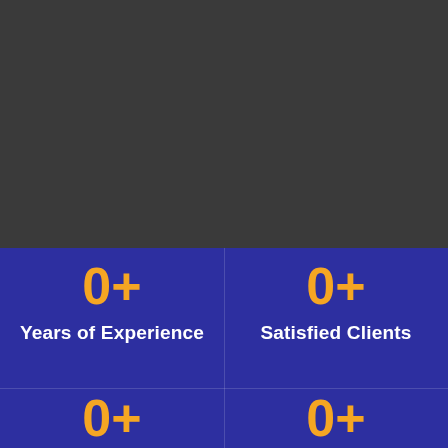[Figure (photo): Dark gray background section occupying top half of page]
0+
Years of Experience
0+
Satisfied Clients
0+
0+